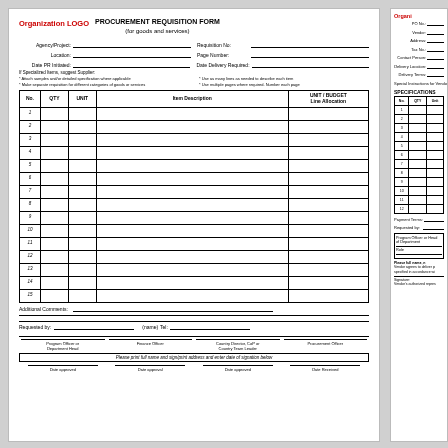PROCUREMENT REQUISITION FORM (for goods and services)
| No. | QTY | UNIT | Item Description | UNIT / BUDGET Line Allocation |
| --- | --- | --- | --- | --- |
| 1 |  |  |  |  |
| 2 |  |  |  |  |
| 3 |  |  |  |  |
| 4 |  |  |  |  |
| 5 |  |  |  |  |
| 6 |  |  |  |  |
| 7 |  |  |  |  |
| 8 |  |  |  |  |
| 9 |  |  |  |  |
| 10 |  |  |  |  |
| 11 |  |  |  |  |
| 12 |  |  |  |  |
| 13 |  |  |  |  |
| 14 |  |  |  |  |
| 15 |  |  |  |  |
Additional Comments:
Requested by: (name) Tel:
Program Officer or Department Head | Finance Officer | Country Director, CoP or Country Team Leader | Procurement Officer
Please print full name and sign/print address and enter date of signation below
Date approved | Date approval | Date approved | Date Received